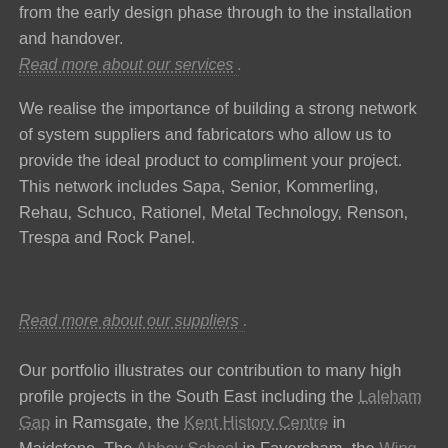from the early design phase through to the installation and handover.
Read more about our services .
We realise the importance of building a strong network of system suppliers and fabricators who allow us to provide the ideal product to compliment your project. This network includes Sapa, Senior, Kommerling, Rehau, Schuco, Rationel, Metal Technology, Renson, Trespa and Rock Panel.
Read more about our suppliers .
Our portfolio illustrates our contribution to many high profile projects in the South East including the Laleham Gap in Ramsgate, the Kent History Centre in Maidstone, The Abbey School in Faversham, the Wing in